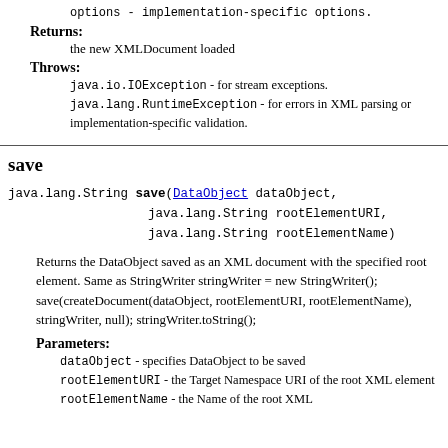options - implementation-specific options.
Returns: the new XMLDocument loaded
Throws: java.io.IOException - for stream exceptions. java.lang.RuntimeException - for errors in XML parsing or implementation-specific validation.
save
java.lang.String save(DataObject dataObject, java.lang.String rootElementURI, java.lang.String rootElementName)
Returns the DataObject saved as an XML document with the specified root element. Same as StringWriter stringWriter = new StringWriter(); save(createDocument(dataObject, rootElementURI, rootElementName), stringWriter, null); stringWriter.toString();
Parameters:
dataObject - specifies DataObject to be saved
rootElementURI - the Target Namespace URI of the root XML element
rootElementName - the Name of the root XML